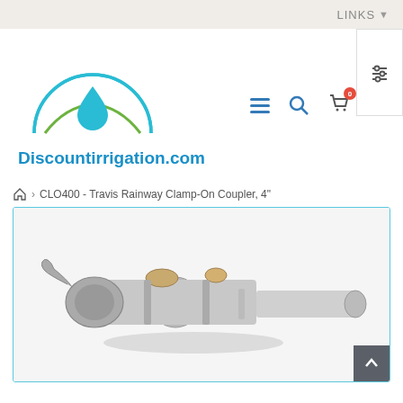LINKS
[Figure (logo): Discountirrigation.com logo: teal circle with green grass arc, blue water droplet, and cyan text 'Discountirrigation.com']
CLO400 - Travis Rainway Clamp-On Coupler, 4"
[Figure (photo): Metal 4-inch Travis Rainway Clamp-On Coupler irrigation fitting, showing interlocking aluminum pipe coupler with locking levers, photographed on white background]